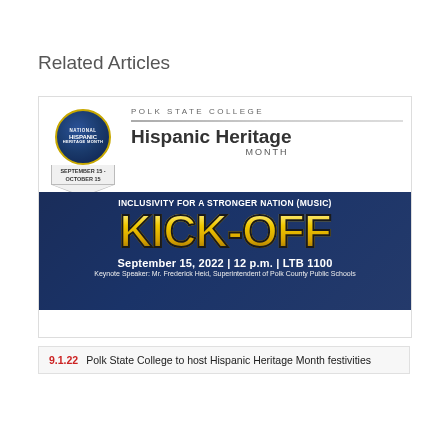Related Articles
[Figure (illustration): Polk State College Hispanic Heritage Month Kick-Off event flyer. Features National Hispanic Heritage Month badge, Polk State College logo area, 'Hispanic Heritage Month' heading, 'INCLUSIVITY FOR A STRONGER NATION (MUSIC)' subtitle, large 'KICK-OFF' text in gold/yellow on dark blue background, date September 15, 2022 | 12 p.m. | LTB 1100, Keynote Speaker: Mr. Frederick Heid, Superintendent of Polk County Public Schools.]
9.1.22  Polk State College to host Hispanic Heritage Month festivities